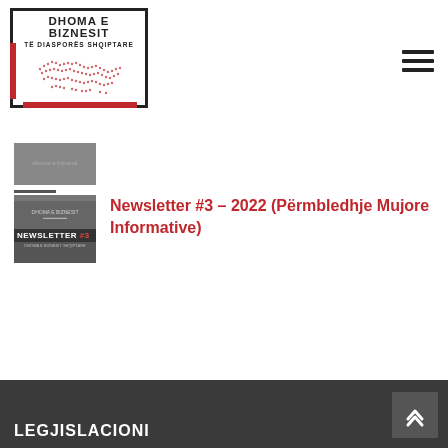[Figure (logo): Dhoma e Biznesit të Diasporës Shqiptare logo with world map dots inside a black bordered box with red accent lines]
[Figure (photo): Small thumbnail image, dark gray, partially visible at top]
[Figure (photo): Newsletter #3 thumbnail image showing dark background with newsletter text]
Newsletter #3 – 2022 (Përmbledhje Mujore Informative)
LEGJISLACIONI